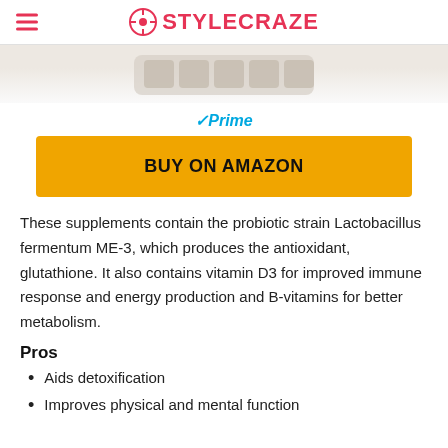STYLECRAZE
[Figure (photo): Partial product image of supplement blister pack at top of page]
✓Prime
BUY ON AMAZON
These supplements contain the probiotic strain Lactobacillus fermentum ME-3, which produces the antioxidant, glutathione. It also contains vitamin D3 for improved immune response and energy production and B-vitamins for better metabolism.
Pros
Aids detoxification
Improves physical and mental function